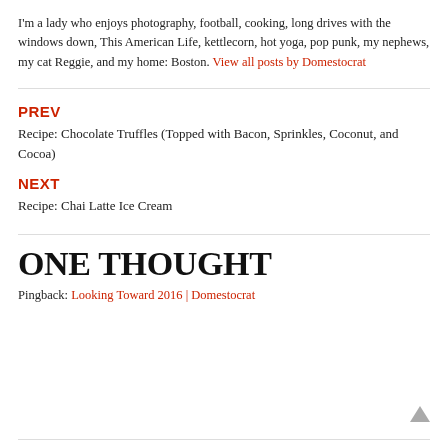I'm a lady who enjoys photography, football, cooking, long drives with the windows down, This American Life, kettlecorn, hot yoga, pop punk, my nephews, my cat Reggie, and my home: Boston. View all posts by Domestocrat
PREV
Recipe: Chocolate Truffles (Topped with Bacon, Sprinkles, Coconut, and Cocoa)
NEXT
Recipe: Chai Latte Ice Cream
ONE THOUGHT
Pingback: Looking Toward 2016 | Domestocrat